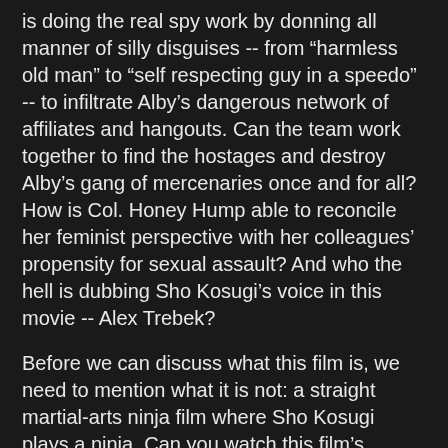is doing the real spy work by donning all manner of silly disguises -- from “harmless old man” to “self respecting guy in a speedo” -- to infiltrate Alby’s dangerous network of affiliates and hangouts. Can the team work together to find the hostages and destroy Alby’s gang of mercenaries once and for all? How is Col. Honey Hump able to reconcile her feminist perspective with her colleagues’ propensity for sexual assault? And who the hell is dubbing Sho Kosugi’s voice in this movie -- Alex Trebek?
Before we can discuss what this film is, we need to mention what it is not: a straight martial-arts ninja film where Sho Kosugi plays a ninja. Can you watch this film’s opening -- fog machine, interpretive jazzercise, Kosugi kata demonstration, and all -- and expect a serious ninja film afterwards? Nah. This is definitely more of an action-adventure with a focus on the ensemble cast and some broad comedic touches. Among all of its obvious nods to the James Bond series and action-adventure spy films in general, none is more on-the-nose than the casting of Vijay Amritraj, a former tennis star who also appeared in the Bond film Octopussy. Unfortunately, most of this gimmickry comes at the expense